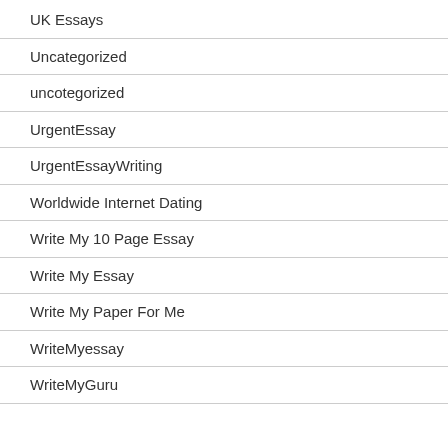UK Essays
Uncategorized
uncotegorized
UrgentEssay
UrgentEssayWriting
Worldwide Internet Dating
Write My 10 Page Essay
Write My Essay
Write My Paper For Me
WriteMyessay
WriteMyGuru